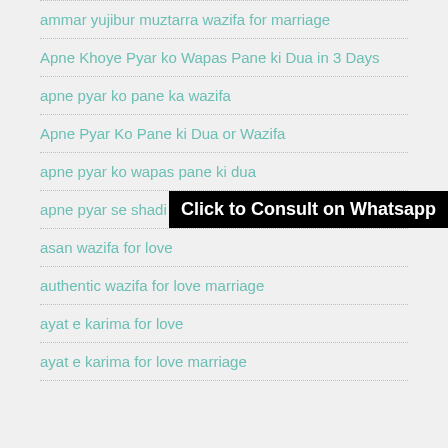ammar yujibur muztarra wazifa for marriage
Apne Khoye Pyar ko Wapas Pane ki Dua in 3 Days
apne pyar ko pane ka wazifa
Apne Pyar Ko Pane ki Dua or Wazifa
apne pyar ko wapas pane ki dua
apne pyar se shadi karne
[Figure (other): Black banner button with white bold text: Click to Consult on Whatsapp]
asan wazifa for love
authentic wazifa for love marriage
ayat e karima for love
ayat e karima for love marriage